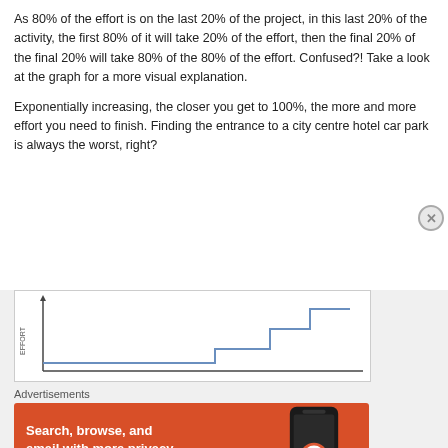As 80% of the effort is on the last 20% of the project, in this last 20% of the activity, the first 80% of it will take 20% of the effort, then the final 20% of the final 20% will take 80% of the 80% of the effort. Confused?! Take a look at the graph for a more visual explanation.
Exponentially increasing, the closer you get to 100%, the more and more effort you need to finish. Finding the entrance to a city centre hotel car park is always the worst, right?
[Figure (continuous-plot): A step-like curve chart showing EFFORT on the y-axis, with effort increasing exponentially (in steps) as progress approaches 100%. The curve shows two large upward steps toward the right side of the chart.]
Advertisements
[Figure (illustration): DuckDuckGo advertisement banner with orange background. Text reads: Search, browse, and email with more privacy. All in One Free App. Shows a phone image with DuckDuckGo logo.]